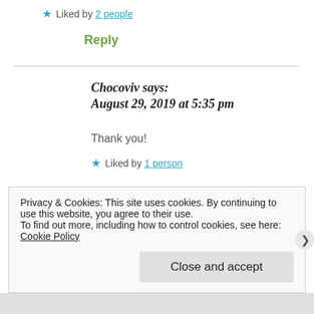★ Liked by 2 people
Reply
Chocoviv says: August 29, 2019 at 5:35 pm
Thank you!
★ Liked by 1 person
Privacy & Cookies: This site uses cookies. By continuing to use this website, you agree to their use. To find out more, including how to control cookies, see here: Cookie Policy
Close and accept